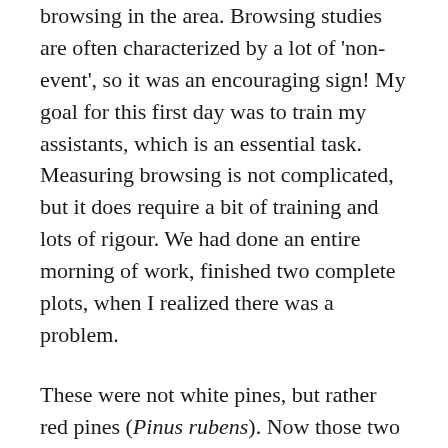browsing in the area. Browsing studies are often characterized by a lot of 'non-event', so it was an encouraging sign! My goal for this first day was to train my assistants, which is an essential task. Measuring browsing is not complicated, but it does require a bit of training and lots of rigour. We had done an entire morning of work, finished two complete plots, when I realized there was a problem.
These were not white pines, but rather red pines (Pinus rubens). Now those two species are easy to discriminate, but I was so concentrated on training my assistants that I had not realized my mistake. A bit anxiously, I told my assistants to wait, while I walked the site, in a quest of white pines. Not a white pine in sight. Both white and red